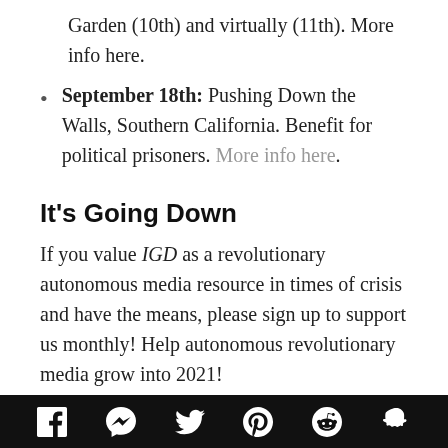Garden (10th) and virtually (11th). More info here.
September 18th: Pushing Down the Walls, Southern California. Benefit for political prisoners. More info here.
It’s Going Down
If you value IGD as a revolutionary autonomous media resource in times of crisis and have the means, please sign up to support us monthly! Help autonomous revolutionary media grow into 2021!
Sign up to become a monthly supporter here!
Give us a one time donation here or through
Facebook Messenger Twitter Pinterest Reddit Snapchat